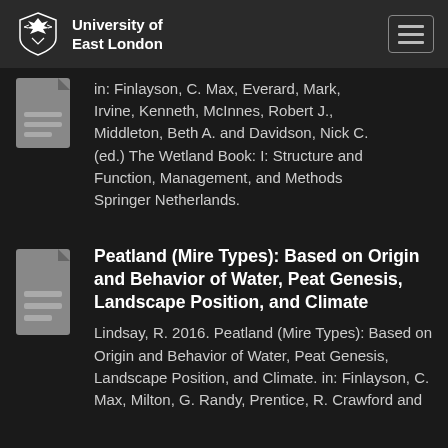University of East London
in: Finlayson, C. Max, Everard, Mark, Irvine, Kenneth, McInnes, Robert J., Middleton, Beth A. and Davidson, Nick C. (ed.) The Wetland Book: I: Structure and Function, Management, and Methods Springer Netherlands.
Peatland (Mire Types): Based on Origin and Behavior of Water, Peat Genesis, Landscape Position, and Climate
Lindsay, R. 2016. Peatland (Mire Types): Based on Origin and Behavior of Water, Peat Genesis, Landscape Position, and Climate. in: Finlayson, C. Max, Milton, G. Randy, Prentice, R. Crawford and